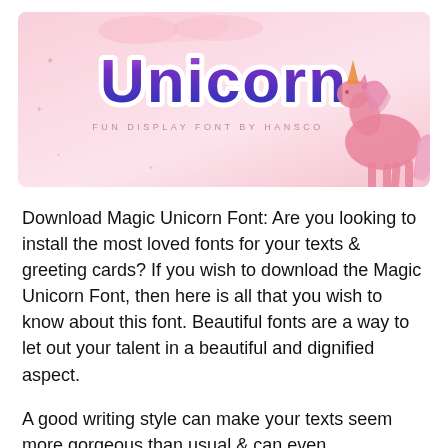[Figure (illustration): Magic Unicorn font banner with pink background, decorative purple-to-blue gradient 'Unicorn' lettering with white outline/stroke, subtitle 'FUN DISPLAY FONT BY HANSCO' in spaced pink letters, and a pink unicorn silhouette on the right]
Download Magic Unicorn Font: Are you looking to install the most loved fonts for your texts & greeting cards? If you wish to download the Magic Unicorn Font, then here is all that you wish to know about this font. Beautiful fonts are a way to let out your talent in a beautiful and dignified aspect.
A good writing style can make your texts seem more gorgeous than usual & can even